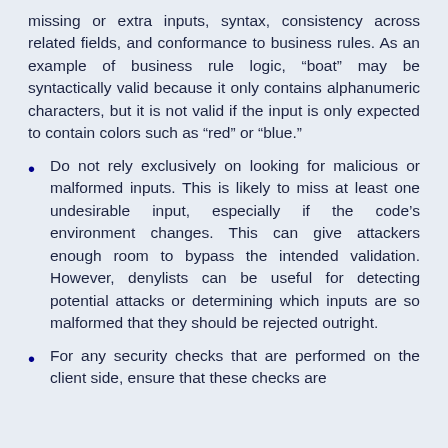missing or extra inputs, syntax, consistency across related fields, and conformance to business rules. As an example of business rule logic, “boat” may be syntactically valid because it only contains alphanumeric characters, but it is not valid if the input is only expected to contain colors such as “red” or “blue.”
Do not rely exclusively on looking for malicious or malformed inputs. This is likely to miss at least one undesirable input, especially if the code’s environment changes. This can give attackers enough room to bypass the intended validation. However, denylists can be useful for detecting potential attacks or determining which inputs are so malformed that they should be rejected outright.
For any security checks that are performed on the client side, ensure that these checks are